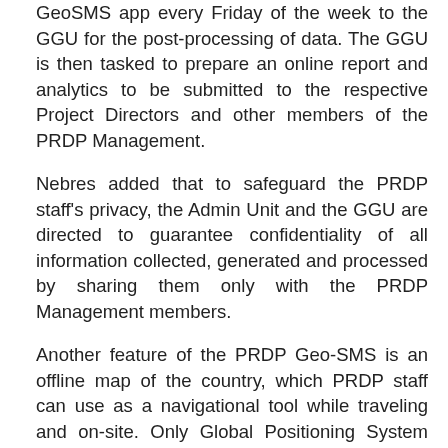GeoSMS app every Friday of the week to the GGU for the post-processing of data. The GGU is then tasked to prepare an online report and analytics to be submitted to the respective Project Directors and other members of the PRDP Management.
Nebres added that to safeguard the PRDP staff's privacy, the Admin Unit and the GGU are directed to guarantee confidentiality of all information collected, generated and processed by sharing them only with the PRDP Management members.
Another feature of the PRDP Geo-SMS is an offline map of the country, which PRDP staff can use as a navigational tool while traveling and on-site. Only Global Positioning System (GPS) and SMS load are needed to make the app work. It does not require Internet connection.
“We are looking forward na maging successful and also, na mai-mainstream ito sa regular program management offices or different agencies ng Department of Agriculture,” Nebres added. On April 19, 2020, Grenena also shared